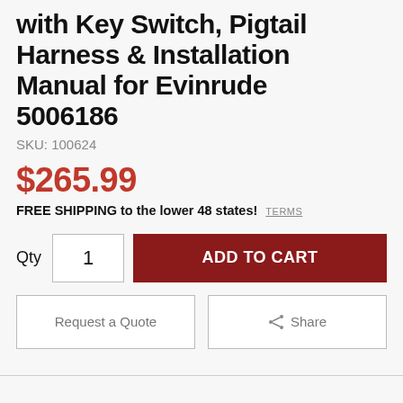with Key Switch, Pigtail Harness & Installation Manual for Evinrude 5006186
SKU: 100624
$265.99
FREE SHIPPING to the lower 48 states! TERMS
Qty  1  ADD TO CART
Request a Quote   Share